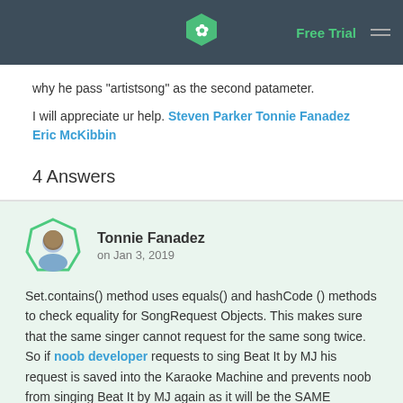Free Trial
why he pass "artistsong" as the second patameter.
I will appreciate ur help. Steven Parker Tonnie Fanadez Eric McKibbin
4 Answers
Tonnie Fanadez
on Jan 3, 2019
Set.contains() method uses equals() and hashCode () methods to check equality for SongRequest Objects. This makes sure that the same singer cannot request for the same song twice. So if noob developer requests to sing Beat It by MJ his request is saved into the Karaoke Machine and prevents noob from singing Beat It by MJ again as it will be the SAME